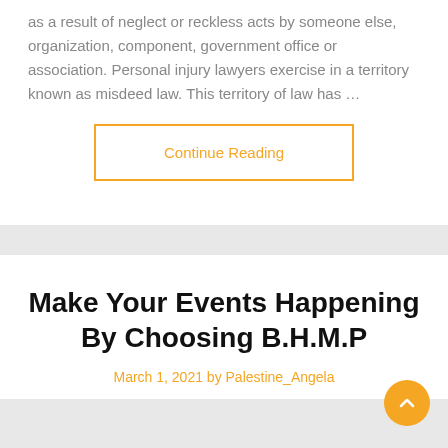as a result of neglect or reckless acts by someone else, organization, component, government office or association. Personal injury lawyers exercise in a territory known as misdeed law. This territory of law has …
Continue Reading
Make Your Events Happening By Choosing B.H.M.P
March 1, 2021 by Palestine_Angela